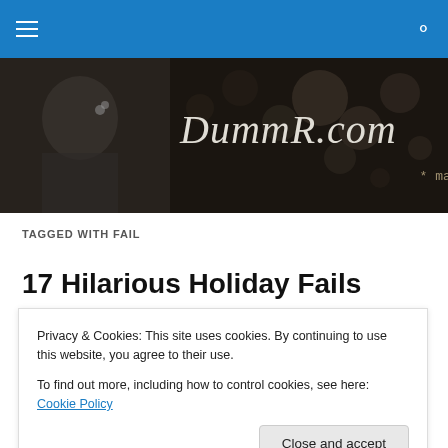Navigation bar with hamburger menu and search icon
[Figure (illustration): DummR.com website banner: black and white photo of a person with a flower at left, dark background with blurred bokeh lights, large stylized text 'DummR.com' and subtitle '* may contain nuts']
TAGGED WITH FAIL
17 Hilarious Holiday Fails
Privacy & Cookies: This site uses cookies. By continuing to use this website, you agree to their use.
To find out more, including how to control cookies, see here: Cookie Policy
Close and accept